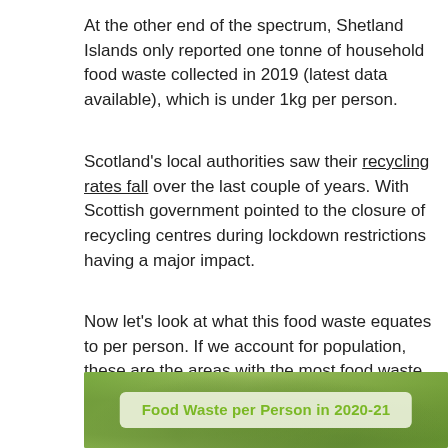At the other end of the spectrum, Shetland Islands only reported one tonne of household food waste collected in 2019 (latest data available), which is under 1kg per person.
Scotland's local authorities saw their recycling rates fall over the last couple of years. With Scottish government pointed to the closure of recycling centres during lockdown restrictions having a major impact.
Now let's look at what this food waste equates to per person. If we account for population, these are the areas with the most food waste per person –
[Figure (illustration): Green-tinted background image of food waste with a semi-transparent rounded box overlay containing the title 'Food Waste per Person in 2020-21' in bold green text.]